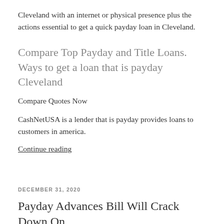Cleveland with an internet or physical presence plus the actions essential to get a quick payday loan in Cleveland.
Compare Top Payday and Title Loans. Ways to get a loan that is payday Cleveland
Compare Quotes Now
CashNetUSA is a lender that is payday provides loans to customers in america.
Continue reading
DECEMBER 31, 2020
Payday Advances Bill Will Crack Down On